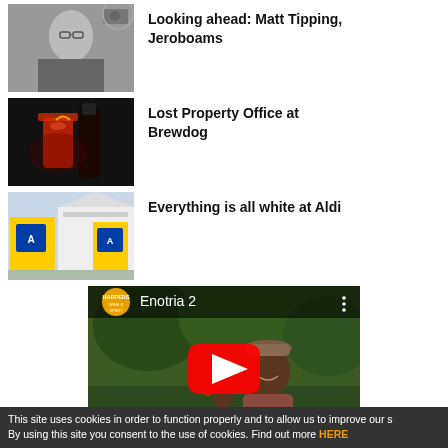[Figure (photo): Black and white photo of a man in glasses and suit]
Looking ahead: Matt Tipping, Jeroboams
[Figure (photo): Dark photo of a red cocktail drink with glasses in background]
Lost Property Office at Brewdog
[Figure (photo): Photo of Aldi store exterior with blue logo signs and white building]
Everything is all white at Aldi
[Figure (screenshot): YouTube video embed showing Enotria 2 video with Harpers Wine & Spirit logo, man picking fruit in background, red play button]
This site uses cookies in order to function properly and to allow us to improve our s By using this site you consent to the use of cookies. Find out more HERE